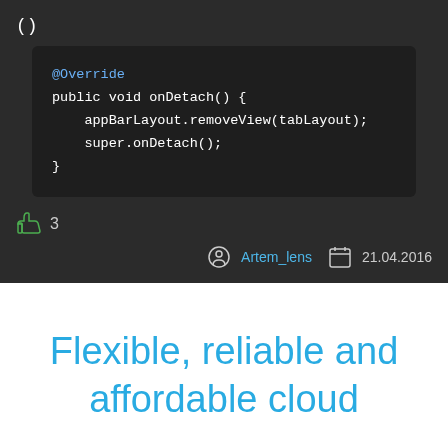()
[Figure (screenshot): Dark-themed code block showing Java @Override onDetach() method with appBarLayout.removeView(tabLayout) and super.onDetach() calls]
3
Artem_lens
21.04.2016
Flexible, reliable and affordable cloud